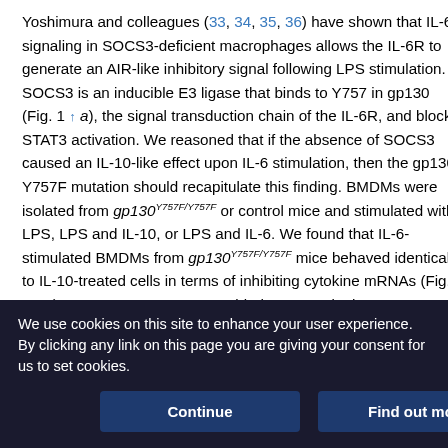Yoshimura and colleagues (33, 34, 35, 36) have shown that IL-6 signaling in SOCS3-deficient macrophages allows the IL-6R to generate an AIR-like inhibitory signal following LPS stimulation. SOCS3 is an inducible E3 ligase that binds to Y757 in gp130 (Fig. 1 ↑ a), the signal transduction chain of the IL-6R, and blocks STAT3 activation. We reasoned that if the absence of SOCS3 caused an IL-10-like effect upon IL-6 stimulation, then the gp130 Y757F mutation should recapitulate this finding. BMDMs were isolated from gp130^Y757F/Y757F or control mice and stimulated with LPS, LPS and IL-10, or LPS and IL-6. We found that IL-6-stimulated BMDMs from gp130^Y757F/Y757F mice behaved identically to IL-10-treated cells in terms of inhibiting cytokine mRNAs (Fig. 1 ↑ c). Because SOCS3 cannot bind to gp130 in the
We use cookies on this site to enhance your user experience. By clicking any link on this page you are giving your consent for us to set cookies.